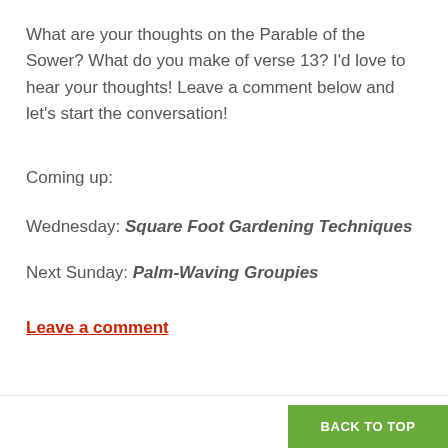What are your thoughts on the Parable of the Sower? What do you make of verse 13? I'd love to hear your thoughts! Leave a comment below and let's start the conversation!
Coming up:
Wednesday: Square Foot Gardening Techniques
Next Sunday: Palm-Waving Groupies
Leave a comment
BACK TO TOP